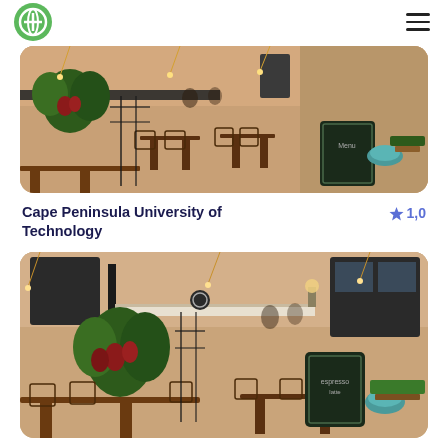Logo and navigation menu
[Figure (photo): Outdoor cafe/restaurant scene with tables, chairs, plants, a chalkboard menu sign, and a coffee cup on a table. Warm tones, vintage building facade in background.]
Cape Peninsula University of Technology
★ 1,0
[Figure (photo): Second outdoor cafe/restaurant scene similar to the first, showing a terrace with tables, chairs, green plants, a chalkboard sign, coffee cup, and building facade with large windows.]